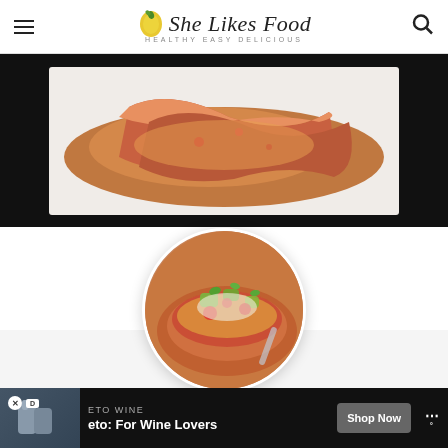She Likes Food – HEALTHY EASY DELICIOUS
[Figure (photo): Bacon-wrapped chicken dish on a white plate, close-up food photography with warm tones, black background border]
[Figure (photo): Circular cropped food photo showing enchiladas or similar Mexican dish topped with avocado, tomatoes, and cilantro]
[Figure (photo): Advertisement banner: ETO WINE – eto: For Wine Lovers, with Shop Now button]